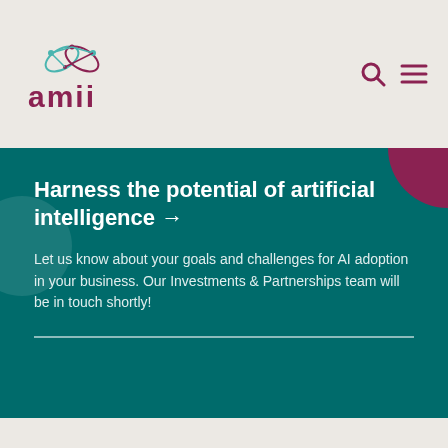[Figure (logo): amii logo top-left with stylized atom/infinity symbol in teal and magenta]
[Figure (infographic): Search icon and hamburger menu icon in magenta on top right]
Harness the potential of artificial intelligence →
Let us know about your goals and challenges for AI adoption in your business. Our Investments & Partnerships team will be in touch shortly!
[Figure (logo): amii logo bottom-left with stylized atom/infinity symbol in teal and magenta]